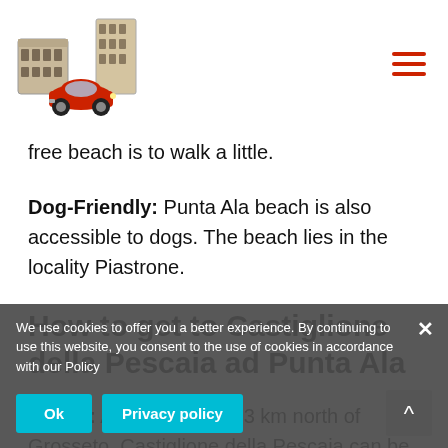[Logo: Italy travel site with Colosseum and red VW Beetle] [Hamburger menu icon]
free beach is to walk a little.
Dog-Friendly: Punta Ala beach is also accessible to dogs. The beach lies in the locality Piastrone.
How to get to Castiglione della Pescaia ad Punta Ala
By car: Approximately 23 km north of Grosseto, Castiglione della Pescaia can be reached from the SS1 Aurelia Road, take Follonica (coming from north) or Grosseto Scalo (from the south)
We use cookies to offer you a better experience. By continuing to use this website, you consent to the use of cookies in accordance with our Policy